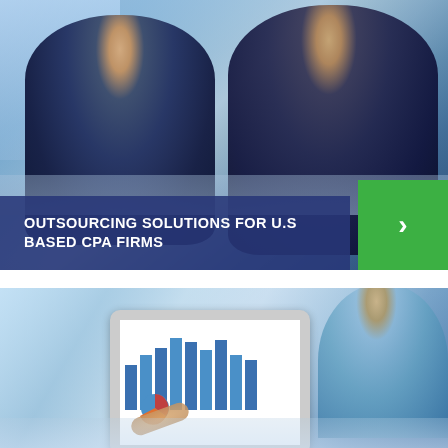[Figure (photo): Two businessmen in suits sitting at a table having a conversation in a bright office setting]
OUTSOURCING SOLUTIONS FOR U.S BASED CPA FIRMS
[Figure (photo): Person holding a tablet displaying charts and graphs, with another person visible in the background]